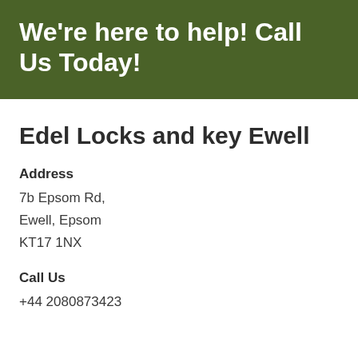We're here to help! Call Us Today!
Edel Locks and key Ewell
Address
7b Epsom Rd,
Ewell, Epsom
KT17 1NX
Call Us
+44 2080873423